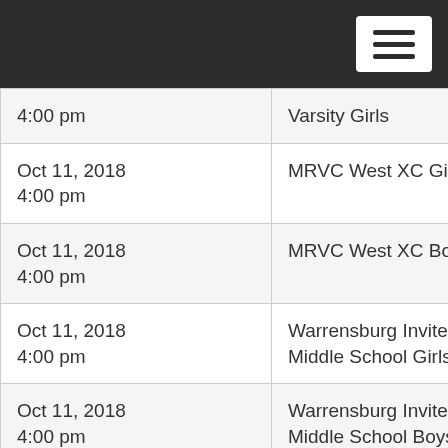| Date/Time | Event |
| --- | --- |
| 4:00 pm | Varsity Girls |
| Oct 11, 2018
4:00 pm | MRVC West XC Girls |
| Oct 11, 2018
4:00 pm | MRVC West XC Boys |
| Oct 11, 2018
4:00 pm | Warrensburg Invite XC
Middle School Girls |
| Oct 11, 2018
4:00 pm | Warrensburg Invite XC
Middle School Boys |
| Oct 11, 2018
4:00 pm | Warrensburg Invite XC
Varsity Boys |